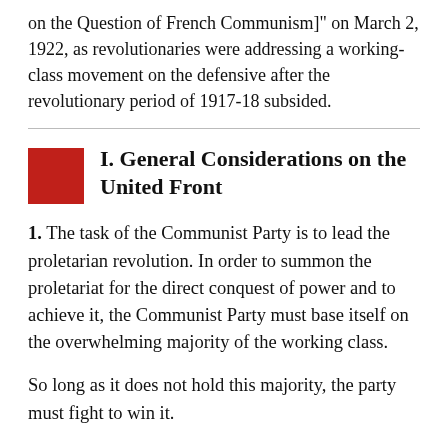on the Question of French Communism]" on March 2, 1922, as revolutionaries were addressing a working-class movement on the defensive after the revolutionary period of 1917-18 subsided.
I. General Considerations on the United Front
1. The task of the Communist Party is to lead the proletarian revolution. In order to summon the proletariat for the direct conquest of power and to achieve it, the Communist Party must base itself on the overwhelming majority of the working class.
So long as it does not hold this majority, the party must fight to win it.
The party can achieve this only by remaining an absolutely independent organization with a clear program and strict internal discipline. That is the reason why the party was bound to break